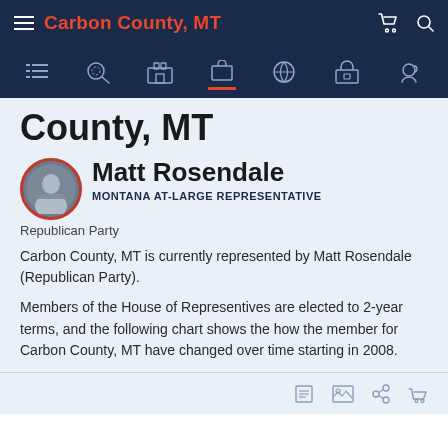Carbon County, MT
County, MT
[Figure (photo): Circular portrait photo of Matt Rosendale with red border]
Matt Rosendale
MONTANA AT-LARGE REPRESENTATIVE
Republican Party
Carbon County, MT is currently represented by Matt Rosendale (Republican Party).
Members of the House of Representives are elected to 2-year terms, and the following chart shows the how the member for Carbon County, MT have changed over time starting in 2008.